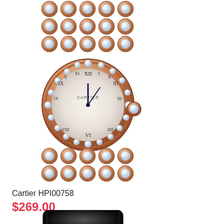[Figure (photo): Cartier Ballon Blanc de Cartier diamond watch with rose gold bracelet set with diamonds, round white dial with Roman numerals and blue hands, model HPI00758]
Cartier HPI00758
$269.00
[Figure (photo): Partial view of a black watch with leather strap, Cartier brand, cropped at bottom of page]